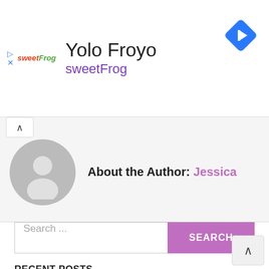[Figure (infographic): Advertisement banner for Yolo Froyo / sweetFrog with logo, title text, and navigation icon]
About the Author: Jessica
[Figure (illustration): Generic user avatar circle with silhouette icon]
Search ...
RECENT POSTS
Ulta Beauty (ULTA) Q2 2022 Earnings Call Transcript
A laundry list of innovation
Glow Up Is A Creative Makeup Competition That's Pure Joy